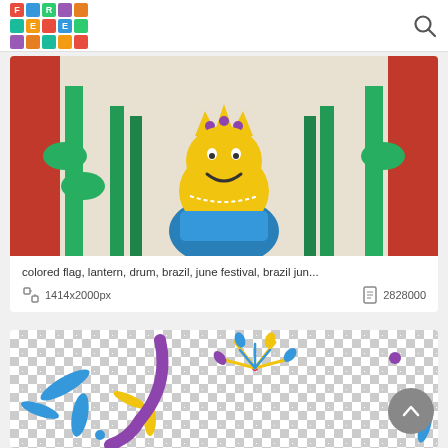FREE (logo) + search icon
[Figure (illustration): Colorful Brazil June festival illustration showing a decorative figure with yellow crown, blue and green elements, cacti, and festive decorations on a beige background]
colored flag, lantern, drum, brazil, june festival, brazil jun...
1414x2000px   2828000
[Figure (illustration): Colorful fireworks illustrations on a transparent (checkerboard) background with blue, yellow, purple, and pink firework bursts and splashes]